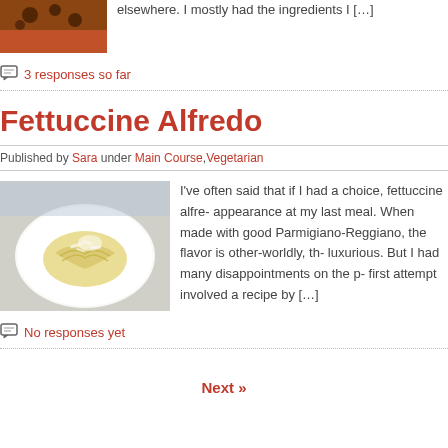[Figure (photo): Food photo - baked good with dark spots, partially visible at top]
elsewhere. I mostly had the ingredients I […]
3 responses so far
Fettuccine Alfredo
Published by Sara under Main Course, Vegetarian
[Figure (photo): Plate of fettuccine alfredo with grated parmesan on a white plate]
I've often said that if I had a choice, fettuccine alfre- appearance at my last meal. When made with good Parmigiano-Reggiano, the flavor is other-worldly, th- luxurious. But I had many disappointments on the p- first attempt involved a recipe by […]
No responses yet
Next »